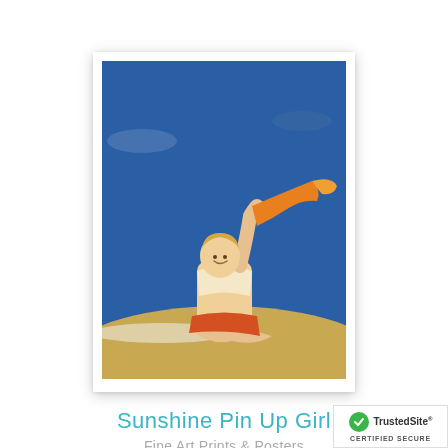[Figure (photo): Vintage pin-up girl illustration: woman in swimsuit sitting on beach, waving an orange/yellow fabric in the wind against a blue sky background. White border/mat framing.]
Sunshine Pin Up Girl
Fine Art Prints & Posters
[Figure (photo): Second vintage pin-up girl illustration partially visible: dark-haired woman in green/teal outfit, cut off at bottom of page.]
[Figure (logo): TrustedSite certified secure badge with green checkmark circle and text 'TrustedSite CERTIFIED SECURE']